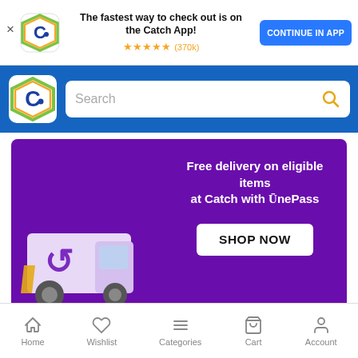[Figure (screenshot): Catch app promotional banner with close button, Catch logo, text 'The fastest way to check out is on the Catch App!' with 5 stars (370k reviews), and 'CONTINUE IN APP' button]
[Figure (screenshot): Catch website search bar section with blue background, Catch logo, and search input field with magnifying glass icon]
[Figure (illustration): Purple promotional banner: delivery truck with OnePass logo, text 'Free delivery on eligible items at Catch with OnePass', and 'SHOP NOW' button]
*Free standard delivery applies to products marked by a OnePass Free Delivery logo in the listing.
Electronics & Appliances › Appliances › Large Appliances › Cooktops › Gas Cooktops
[Figure (screenshot): Bottom navigation bar with Home, Wishlist, Categories, Cart, Account icons]